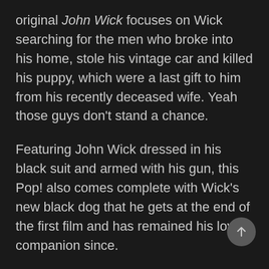original John Wick focuses on Wick searching for the men who broke into his home, stole his vintage car and killed his puppy, which were a last gift to him from his recently deceased wife. Yeah those guys don't stand a chance.

Featuring John Wick dressed in his black suit and armed with his gun, this Pop! also comes complete with Wick's new black dog that he gets at the end of the first film and has remained his loyal companion since.